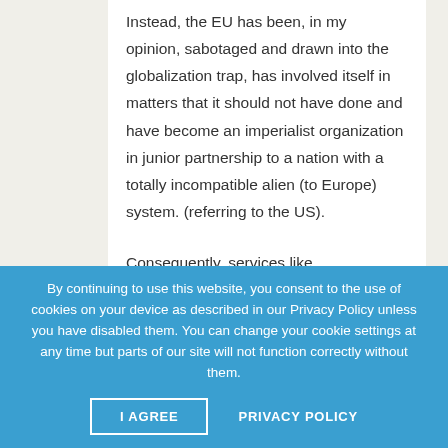Instead, the EU has been, in my opinion, sabotaged and drawn into the globalization trap, has involved itself in matters that it should not have done and have become an imperialist organization in junior partnership to a nation with a totally incompatible alien (to Europe) system. (referring to the US).

Consequently, services like employment,
By continuing to use this website, you consent to the use of cookies on your device as described in our Privacy Policy unless you have disabled them. You can change your cookie settings at any time but parts of our site will not function correctly without them.
I AGREE    PRIVACY POLICY